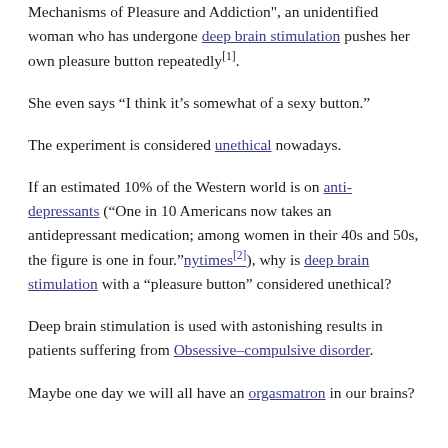Mechanisms of Pleasure and Addiction", an unidentified woman who has undergone deep brain stimulation pushes her own pleasure button repeatedly[1].
She even says “I think it’s somewhat of a sexy button.”
The experiment is considered unethical nowadays.
If an estimated 10% of the Western world is on anti-depressants (“One in 10 Americans now takes an antidepressant medication; among women in their 40s and 50s, the figure is one in four.”nytimes[2]), why is deep brain stimulation with a “pleasure button” considered unethical?
Deep brain stimulation is used with astonishing results in patients suffering from Obsessive–compulsive disorder.
Maybe one day we will all have an orgasmatron in our brains?